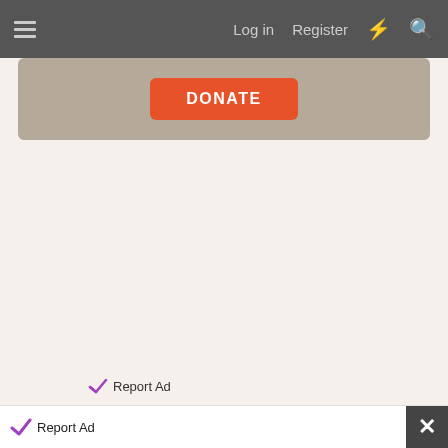☰  Log in  Register  ⚡  🔍
[Figure (screenshot): Donate button on a beige/tan banner area with orange DONATE button]
[Figure (screenshot): Report Ad label with checkmark icon near bottom of main content area]
[Figure (screenshot): Bottom overlay bar with Report Ad label, close X button, and BitLife GOD MODE advertisement banner in cyan/blue]